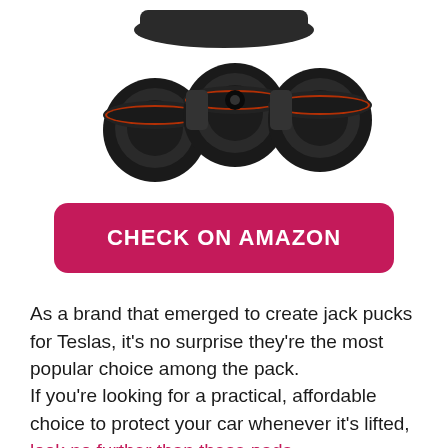[Figure (photo): Product photo of black jack pucks with red rings and a carrying strap, viewed from above against a white background, partially cropped at top.]
CHECK ON AMAZON
As a brand that emerged to create jack pucks for Teslas, it's no surprise they're the most popular choice among the pack.
If you're looking for a practical, affordable choice to protect your car whenever it's lifted, look no further than these pads.